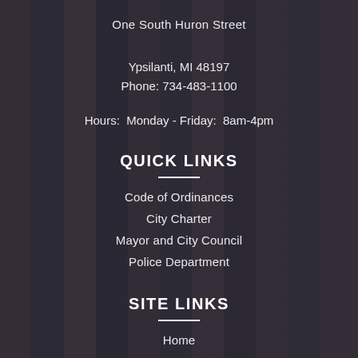One South Huron Street
Ypsilanti, MI 48197
Phone: 734-483-1100
Hours:  Monday - Friday:  8am-4pm
QUICK LINKS
Code of Ordinances
City Charter
Mayor and City Council
Police Department
SITE LINKS
Home